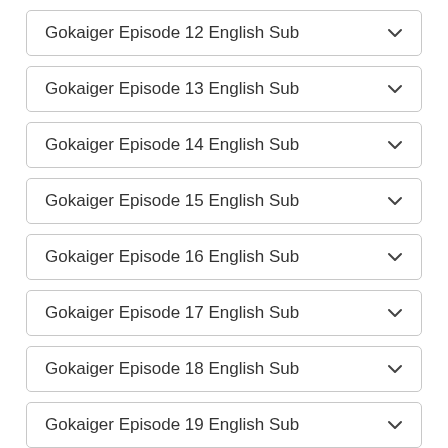Gokaiger Episode 12 English Sub
Gokaiger Episode 13 English Sub
Gokaiger Episode 14 English Sub
Gokaiger Episode 15 English Sub
Gokaiger Episode 16 English Sub
Gokaiger Episode 17 English Sub
Gokaiger Episode 18 English Sub
Gokaiger Episode 19 English Sub
Gokaiger Episode 20 English Sub